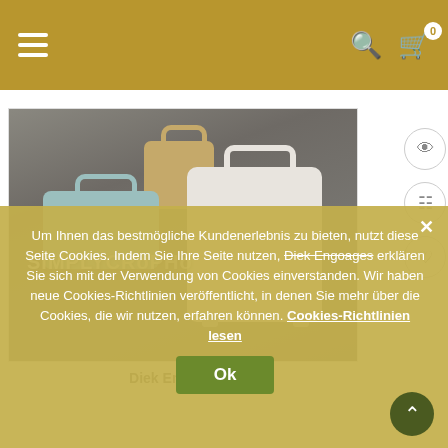[Figure (screenshot): Website header bar with gold/tan background, hamburger menu icon on left, search and cart icons (cart shows 0) on right]
[Figure (photo): Product photo on wooden deck background showing three craft paper luggage/bag die cuts: tan bag, light blue duffle bag, and white suitcase. Brand text 'SiMPLY CRoPHo' overlaid on image.]
Diek Engagas (Die Engoages)
Um Ihnen das bestmögliche Kundenerlebnis zu bieten, nutzt diese Seite Cookies. Indem Sie Ihre Seite nutzen, erklären Sie sich mit der Verwendung von Cookies einverstanden. Wir haben neue Cookies-Richtlinien veröffentlicht, in denen Sie mehr über die Cookies, die wir nutzen, erfahren können. Cookies-Richtlinien lesen
Ok